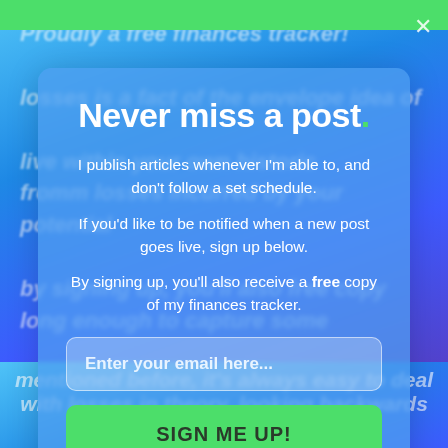[Figure (screenshot): Email newsletter signup modal overlay on a finance blog. Modal has title 'Never miss a post.' with a green dot, descriptive body text about publishing schedule and a free finances tracker offer, an email input field, and a green 'SIGN ME UP!' button. Background shows blurred italic article text on a blue-purple gradient.]
Never miss a post.
I publish articles whenever I'm able to, and don't follow a set schedule.
If you'd like to be notified when a new post goes live, sign up below.
By signing up, you'll also receive a free copy of my finances tracker.
Enter your email here...
SIGN ME UP!